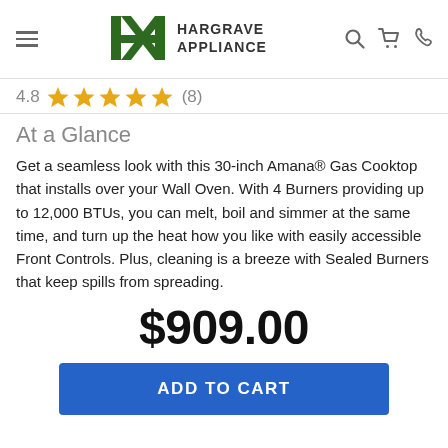Hargrave Appliance
4.8 (8)
At a Glance
Get a seamless look with this 30-inch Amana® Gas Cooktop that installs over your Wall Oven. With 4 Burners providing up to 12,000 BTUs, you can melt, boil and simmer at the same time, and turn up the heat how you like with easily accessible Front Controls. Plus, cleaning is a breeze with Sealed Burners that keep spills from spreading.
$909.00
ADD TO CART